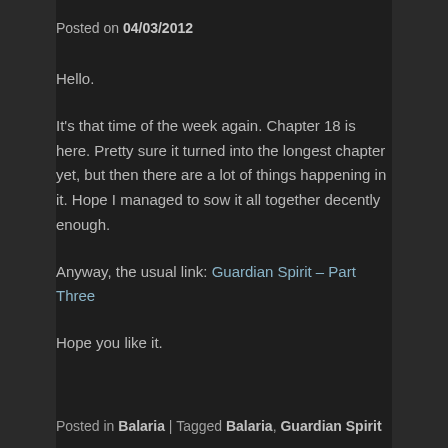Posted on 04/03/2012
Hello.
It's that time of the week again. Chapter 18 is here. Pretty sure it turned into the longest chapter yet, but then there are a lot of things happening in it. Hope I managed to sow it all together decently enough.
Anyway, the usual link: Guardian Spirit – Part Three
Hope you like it.
Posted in Balaria | Tagged Balaria, Guardian Spirit
Guardian Spirit – Chapter 17